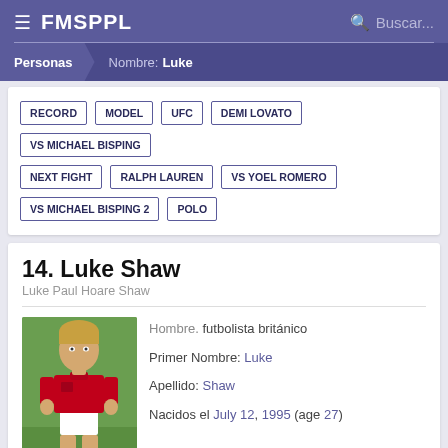FMSPPL | Buscar...
Personas > Nombre: Luke
RECORD
MODEL
UFC
DEMI LOVATO
VS MICHAEL BISPING
NEXT FIGHT
RALPH LAUREN
VS YOEL ROMERO
VS MICHAEL BISPING 2
POLO
14. Luke Shaw
Luke Paul Hoare Shaw
[Figure (photo): Luke Shaw in Manchester United red jersey on a football pitch]
Hombre. futbolista británico
Primer Nombre: Luke
Apellido: Shaw
Nacidos el July 12, 1995 (age 27)